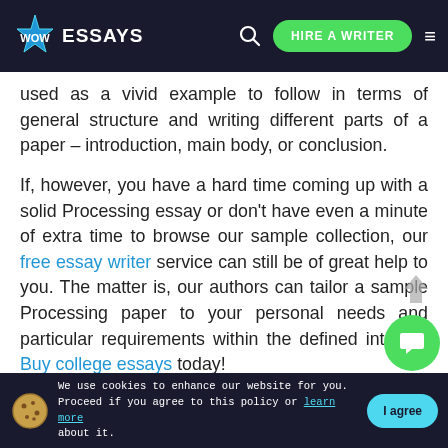WOW ESSAYS — HIRE A WRITER
used as a vivid example to follow in terms of general structure and writing different parts of a paper – introduction, main body, or conclusion.
If, however, you have a hard time coming up with a solid Processing essay or don't have even a minute of extra time to browse our sample collection, our free essay writer service can still be of great help to you. The matter is, our authors can tailor a sample Processing paper to your personal needs and particular requirements within the defined interval. Buy college essays today!
We use cookies to enhance our website for you. Proceed if you agree to this policy or learn more about it. I agree